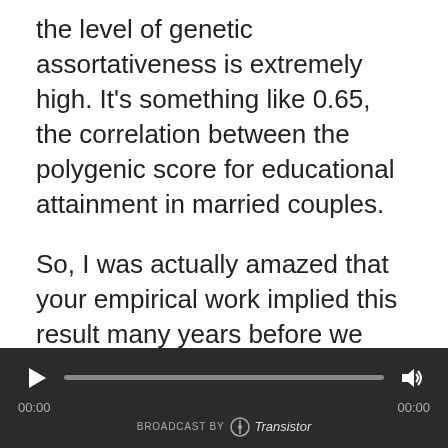the level of genetic assortativeness is extremely high. It's something like 0.65, the correlation between the polygenic score for educational attainment in married couples.
So, I was actually amazed that your empirical work implied this result many years before we were actually able to measure it in actual genomics.
Greg Clark: Yeah, and I should, for the listeners here, I should explain. I, you know, have had no background in genetics before I
[Figure (other): Audio player bar with play button, progress track, volume button, time labels 00:00 and 00:00, and Transistor branding at bottom]